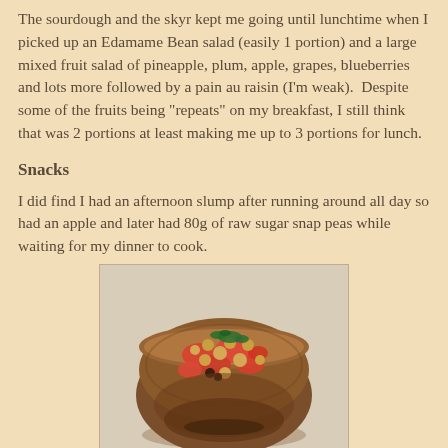The sourdough and the skyr kept me going until lunchtime when I picked up an Edamame Bean salad (easily 1 portion) and a large mixed fruit salad of pineapple, plum, apple, grapes, blueberries and lots more followed by a pain au raisin (I'm weak).  Despite some of the fruits being "repeats" on my breakfast, I still think that was 2 portions at least making me up to 3 portions for lunch.
Snacks
I did find I had an afternoon slump after running around all day so had an apple and later had 80g of raw sugar snap peas while waiting for my dinner to cook.
[Figure (photo): A ceramic bowl filled with a colorful salad of chickpeas, tomatoes, and fresh herbs including parsley, on a light background.]